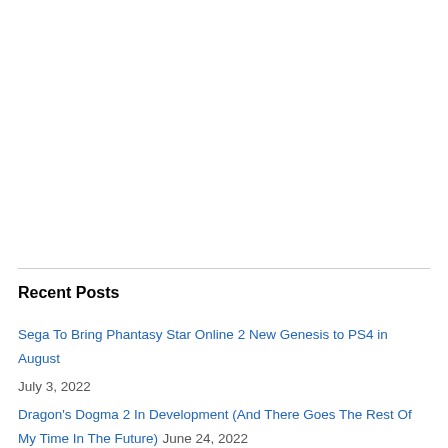Recent Posts
Sega To Bring Phantasy Star Online 2 New Genesis to PS4 in August July 3, 2022
Dragon's Dogma 2 In Development (And There Goes The Rest Of My Time In The Future) June 24, 2022
Andy Hardy Goes To Hell, Or: Speaking of Full Circles… June 17, 2022